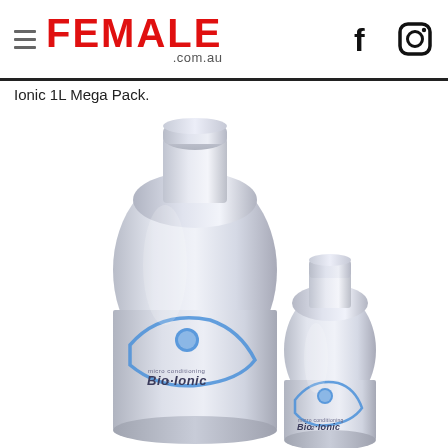FEMALE .com.au
Ionic 1L Mega Pack.
[Figure (photo): Two silver Bio-Ionic hair product bottles side by side — a large 1L bottle on the left and a smaller bottle on the right, both with silver metallic finish, blue circular logo, and blue swoosh design with 'Bio-Ionic' text.]